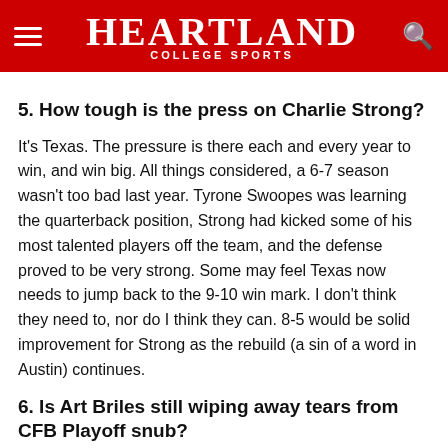HEARTLAND COLLEGE SPORTS
5. How tough is the press on Charlie Strong?
It's Texas. The pressure is there each and every year to win, and win big. All things considered, a 6-7 season wasn't too bad last year. Tyrone Swoopes was learning the quarterback position, Strong had kicked some of his most talented players off the team, and the defense proved to be very strong. Some may feel Texas now needs to jump back to the 9-10 win mark. I don't think they need to, nor do I think they can. 8-5 would be solid improvement for Strong as the rebuild (a sin of a word in Austin) continues.
6. Is Art Briles still wiping away tears from CFB Playoff snub?
We all remember Art Briles throwing a hissy fit after his